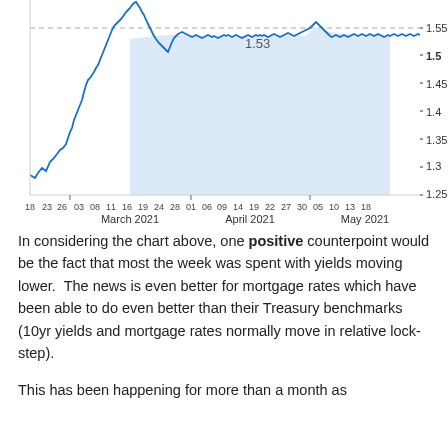[Figure (continuous-plot): Line chart showing 10-year Treasury yield from mid-February 2021 through mid-May 2021. The yield rises from about 1.27 to a peak near 1.75 in late March, then moves mostly sideways and slightly lower back toward 1.53 by mid-May. A dashed horizontal reference line is drawn at approximately 1.55, and the shaded area under the line is light blue. The current value label '1.53' appears near center.]
In considering the chart above, one positive counterpoint would be the fact that most the week was spent with yields moving lower.  The news is even better for mortgage rates which have been able to do even better than their Treasury benchmarks (10yr yields and mortgage rates normally move in relative lock-step).
This has been happening for more than a month as